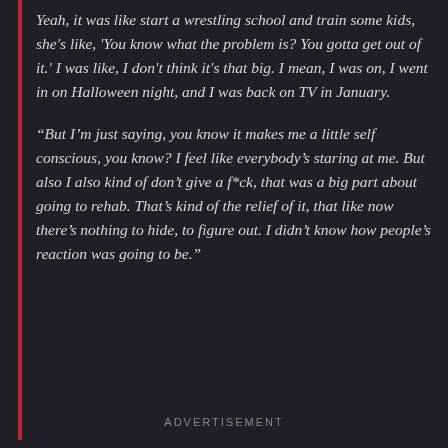Yeah, it was like start a wrestling school and train some kids, she's like, 'You know what the problem is? You gotta get out of it.' I was like, I don't think it's that big. I mean, I was on, I went in on Halloween night, and I was back on TV in January.
“But I’m just saying, you know it makes me a little self conscious, you know? I feel like everybody’s staring at me. But also I also kind of don’t give a f*ck, that was a big part about going to rehab. That’s kind of the relief of it, that like now there’s nothing to hide, to figure out. I didn’t know how people’s reaction was going to be.”
ADVERTISEMENT